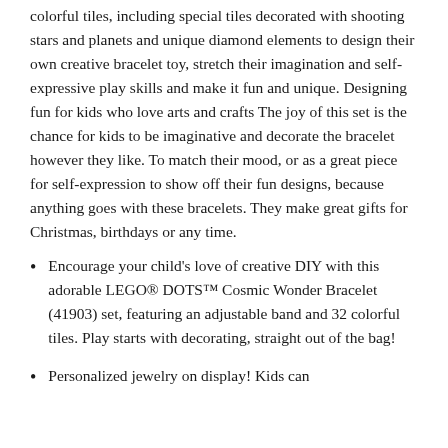colorful tiles, including special tiles decorated with shooting stars and planets and unique diamond elements to design their own creative bracelet toy, stretch their imagination and self-expressive play skills and make it fun and unique. Designing fun for kids who love arts and crafts The joy of this set is the chance for kids to be imaginative and decorate the bracelet however they like. To match their mood, or as a great piece for self-expression to show off their fun designs, because anything goes with these bracelets. They make great gifts for Christmas, birthdays or any time.
Encourage your child's love of creative DIY with this adorable LEGO® DOTS™ Cosmic Wonder Bracelet (41903) set, featuring an adjustable band and 32 colorful tiles. Play starts with decorating, straight out of the bag!
Personalized jewelry on display! Kids can